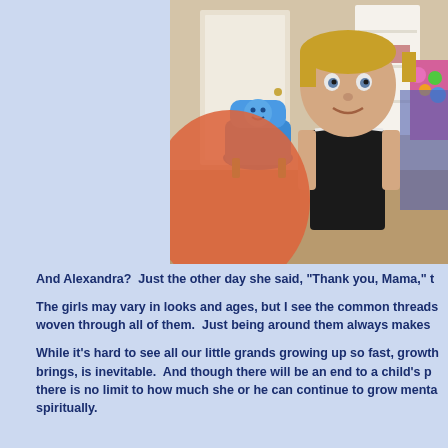[Figure (photo): A young toddler girl with blonde hair wearing a black tank top with white trim, smiling at the camera. She is in an indoor room with carpet flooring. A blue children's toy chair is visible in the background, along with a white storage shelf, a yellow puzzle mat piece, and a colorful floral item. A large orange blurry object is in the left foreground.]
And Alexandra?  Just the other day she said, "Thank you, Mama," t
The girls may vary in looks and ages, but I see the common threads woven through all of them.  Just being around them always makes
While it's hard to see all our little grands growing up so fast, growth brings, is inevitable.  And though there will be an end to a child's p there is no limit to how much she or he can continue to grow menta spiritually.